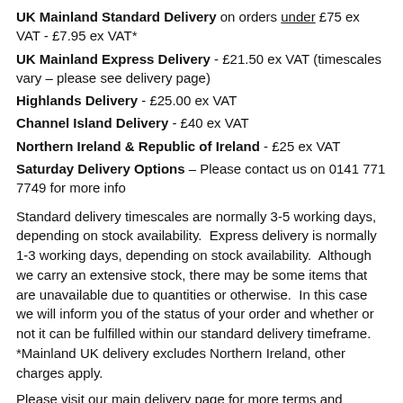UK Mainland Standard Delivery on orders under £75 ex VAT - £7.95 ex VAT*
UK Mainland Express Delivery - £21.50 ex VAT (timescales vary – please see delivery page)
Highlands Delivery - £25.00 ex VAT
Channel Island Delivery - £40 ex VAT
Northern Ireland & Republic of Ireland - £25 ex VAT
Saturday Delivery Options – Please contact us on 0141 771 7749 for more info
Standard delivery timescales are normally 3-5 working days, depending on stock availability.  Express delivery is normally 1-3 working days, depending on stock availability.  Although we carry an extensive stock, there may be some items that are unavailable due to quantities or otherwise.  In this case we will inform you of the status of your order and whether or not it can be fulfilled within our standard delivery timeframe. *Mainland UK delivery excludes Northern Ireland, other charges apply.
Please visit our main delivery page for more terms and conditions or contact our Sales Team on 0141 771 7749 or sales@frontline-safety.co.uk for more information. Currently, some manufacturers are facing production and